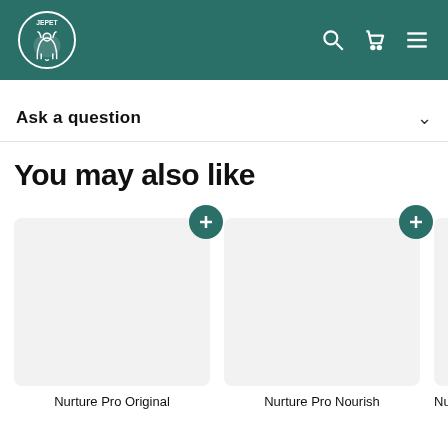JEPET logo with navigation icons: search, cart, menu
Ask a question
You may also like
[Figure (other): Product card for Nurture Pro Original with add button]
Nurture Pro Original
[Figure (other): Product card for Nurture Pro Nourish with add button]
Nurture Pro Nourish
[Figure (other): Partial product card for third Nurture Pro product]
Nurtu